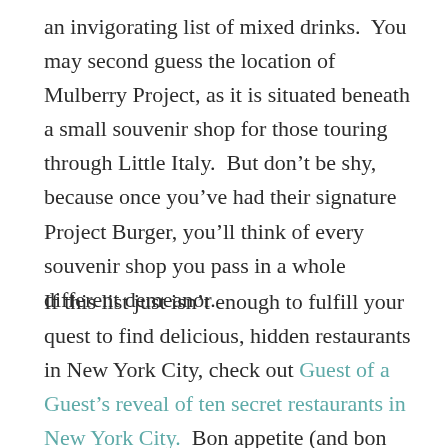an invigorating list of mixed drinks.  You may second guess the location of Mulberry Project, as it is situated beneath a small souvenir shop for those touring through Little Italy.  But don’t be shy, because once you’ve had their signature Project Burger, you’ll think of every souvenir shop you pass in a whole different demeanor.
If this list just isn’t enough to fulfill your quest to find delicious, hidden restaurants in New York City, check out Guest of a Guest’s reveal of ten secret restaurants in New York City.  Bon appetite (and bon chance)!